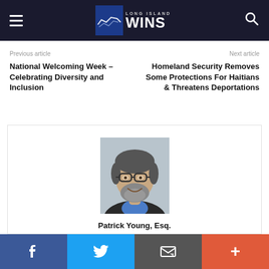Long Island Wins
Previous article
National Welcoming Week – Celebrating Diversity and Inclusion
Next article
Homeland Security Removes Some Protections For Haitians & Threatens Deportations
[Figure (photo): Headshot of Patrick Young, Esq. — a bearded man with glasses wearing a blue shirt and dark jacket, smiling]
Patrick Young, Esq.